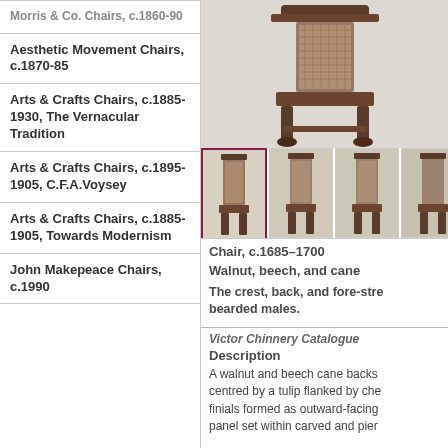Morris & Co. Chairs, c.1860-90
Aesthetic Movement Chairs, c.1870-85
Arts & Crafts Chairs, c.1885-1930, The Vernacular Tradition
Arts & Crafts Chairs, c.1895-1905, C.F.A.Voysey
Arts & Crafts Chairs, c.1885-1905, Towards Modernism
John Makepeace Chairs, c.1990
[Figure (photo): Photograph of an ornate carved walnut chair with cane back, c.1685-1700, shown from the front]
[Figure (photo): Four thumbnail images of the same or similar chairs shown from slightly different angles]
Chair, c.1685–1700
Walnut, beech, and cane
The crest, back, and fore-stre
bearded males.
Victor Chinnery Catalogue
Description
A walnut and beech cane backs centred by a tulip flanked by che finials formed as outward-facing panel set within carved and pier